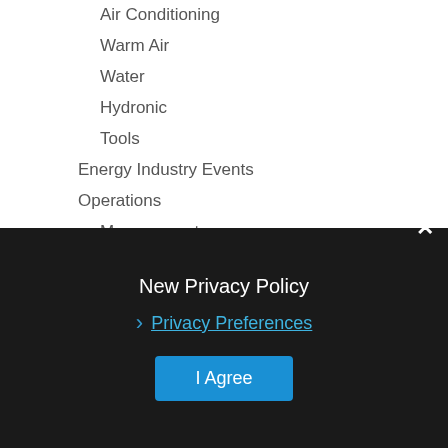Air Conditioning
Warm Air
Water
Hydronic
Tools
Energy Industry Events
Operations
Management
Marketing
Financing
Research
Blog
Digital Editions
About Us
Send Files
Advertise With Fuel Oil News
Enewsletter
Privacy Policy
Subscribe
Webinars
New Privacy Policy
Privacy Preferences
I Agree